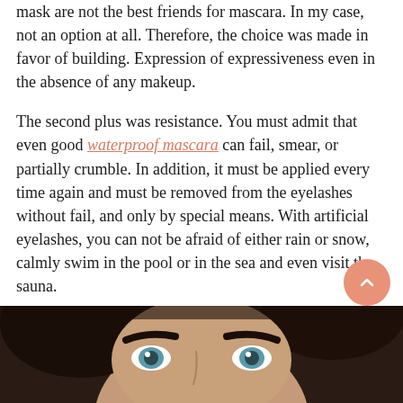mask are not the best friends for mascara. In my case, not an option at all. Therefore, the choice was made in favor of building. Expression of expressiveness even in the absence of any makeup.
The second plus was resistance. You must admit that even good waterproof mascara can fail, smear, or partially crumble. In addition, it must be applied every time again and must be removed from the eyelashes without fail, and only by special means. With artificial eyelashes, you can not be afraid of either rain or snow, calmly swim in the pool or in the sea and even visit the sauna.
[Figure (photo): Close-up photo of a woman's face with dark curly hair, prominent dark eyebrows, and blue eyes, looking upward]